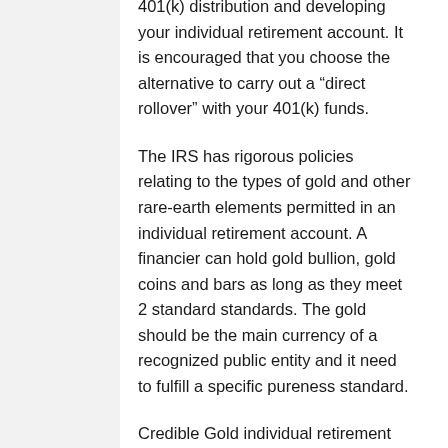401(k) distribution and developing your individual retirement account. It is encouraged that you choose the alternative to carry out a “direct rollover” with your 401(k) funds.
The IRS has rigorous policies relating to the types of gold and other rare-earth elements permitted in an individual retirement account. A financier can hold gold bullion, gold coins and bars as long as they meet 2 standard standards. The gold should be the main currency of a recognized public entity and it need to fulfill a specific pureness standard.
Credible Gold individual retirement account...